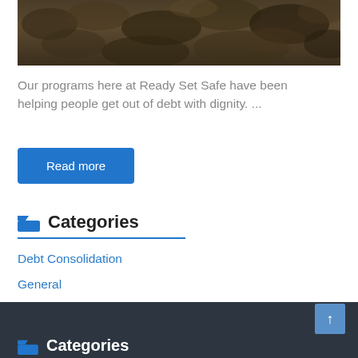[Figure (photo): Close-up photo of dark soil or earth texture, brown and gray tones.]
Our programs here at Ready Set Safe have been helping people get out of debt with dignity. ...
Read more
Categories
Debt Consolidation
General
Categories